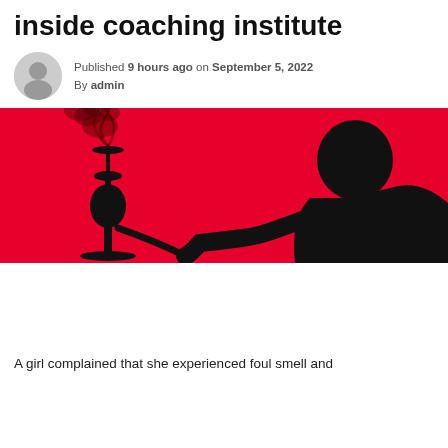inside coaching institute
Published 9 hours ago on September 5, 2022
By admin
[Figure (photo): Silhouette of a person smoking hookah/shisha against a bright red background. A hookah pipe is visible on the left with smoke rising, and the person's silhouette is on the right, smoking from the pipe.]
A girl complained that she experienced foul smell and